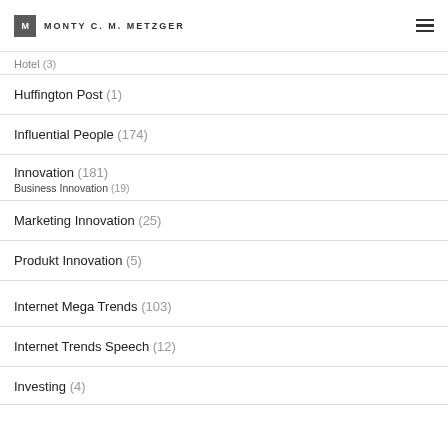Monty C. M. Metzger
Hotel (3)
Huffington Post (1)
Influential People (174)
Innovation (181) Business Innovation (19)
Marketing Innovation (25)
Produkt Innovation (5)
Internet Mega Trends (103)
Internet Trends Speech (12)
Investing (4)